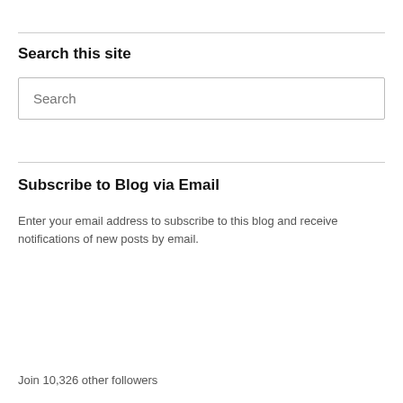Search this site
[Figure (other): Search input text box with placeholder text 'Search']
Subscribe to Blog via Email
Enter your email address to subscribe to this blog and receive notifications of new posts by email.
[Figure (other): Email Address input text box]
[Figure (other): Subscribe button with rounded border]
Join 10,326 other followers